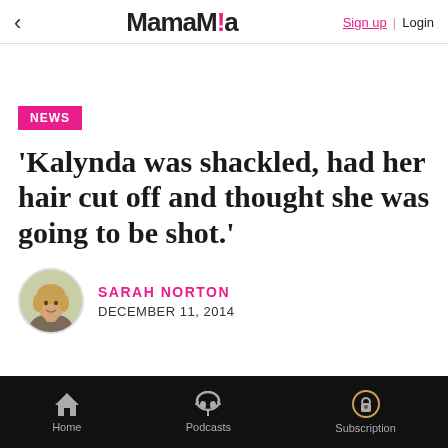< MamaMia  Sign up | Login
NEWS
'Kalynda was shackled, had her hair cut off and thought she was going to be shot.'
SARAH NORTON
DECEMBER 11, 2014
Home  Podcasts  Subscription